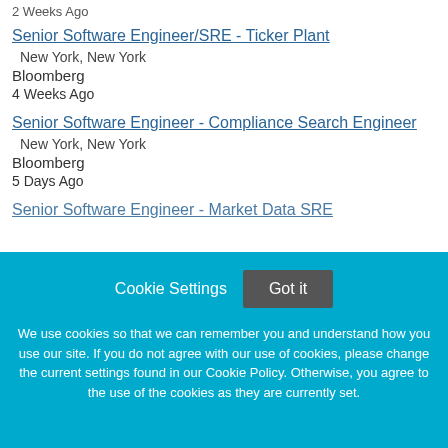2 Weeks Ago
Senior Software Engineer/SRE - Ticker Plant
New York, New York
Bloomberg
4 Weeks Ago
Senior Software Engineer - Compliance Search Engineer
New York, New York
Bloomberg
5 Days Ago
Senior Software Engineer - Market Data SRE
Cookie Settings | Got it
We use cookies so that we can remember you and understand how you use our site. If you do not agree with our use of cookies, please change the current settings found in our Cookie Policy. Otherwise, you agree to the use of the cookies as they are currently set.